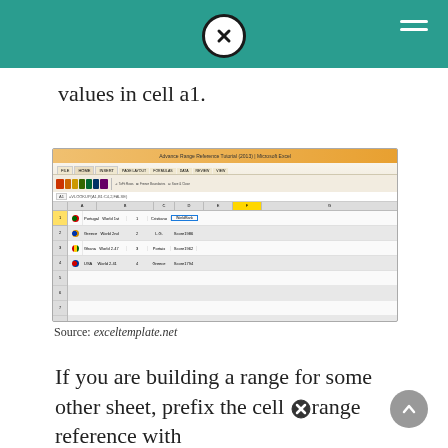values in cell a1.
[Figure (screenshot): Screenshot of Microsoft Excel spreadsheet showing a Named Range reference tutorial with rows containing flag icons, country names (Portugal, Greece, Ghana, USA), numbers, and formula references]
Source: exceltemplate.net
If you are building a range for some other sheet, prefix the cell range reference with